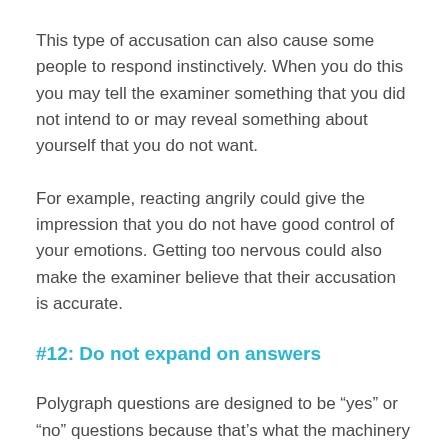This type of accusation can also cause some people to respond instinctively. When you do this you may tell the examiner something that you did not intend to or may reveal something about yourself that you do not want.
For example, reacting angrily could give the impression that you do not have good control of your emotions. Getting too nervous could also make the examiner believe that their accusation is accurate.
#12: Do not expand on answers
Polygraph questions are designed to be “yes” or “no” questions because that’s what the machinery can respond to.